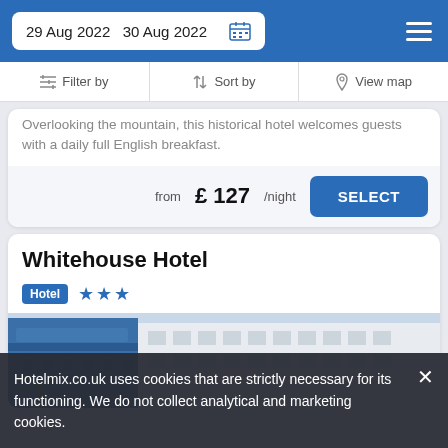29 Aug 2022  30 Aug 2022
Filter by  Sort by  View map
Overlooking the mountain, this historical hotel welcomes guests with a daily full English breakfast.
from £ 127/night  SELECT
Whitehouse Hotel
Hotel ★★★
[Figure (photo): Exterior facade of Whitehouse Hotel, a large white classical building with blue decorative ironwork balconies and palm trees in the foreground]
Hotelmix.co.uk uses cookies that are strictly necessary for its functioning. We do not collect analytical and marketing cookies.